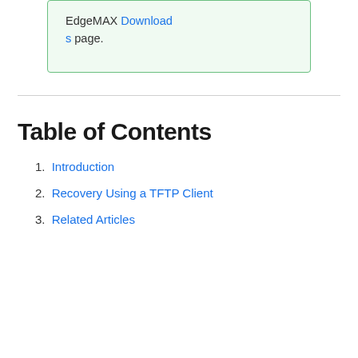EdgeMAX Downloads page.
Table of Contents
1. Introduction
2. Recovery Using a TFTP Client
3. Related Articles